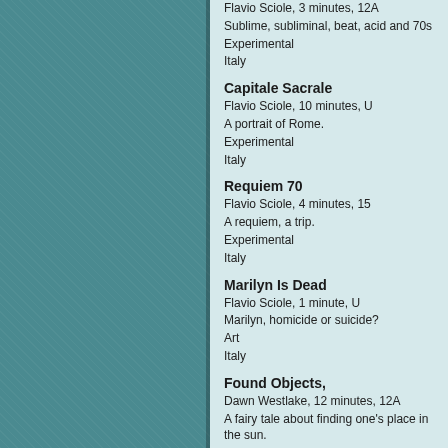Flavio Sciole, 3 minutes, 12A
Sublime, subliminal, beat, acid and 70s
Experimental
Italy
Capitale Sacrale
Flavio Sciole, 10 minutes, U
A portrait of Rome.
Experimental
Italy
Requiem 70
Flavio Sciole, 4 minutes, 15
A requiem, a trip.
Experimental
Italy
Marilyn Is Dead
Flavio Sciole, 1 minute, U
Marilyn, homicide or suicide?
Art
Italy
Found Objects,
Dawn Westlake, 12 minutes, 12A
A fairy tale about finding one's place in the sun.
Drama
USA